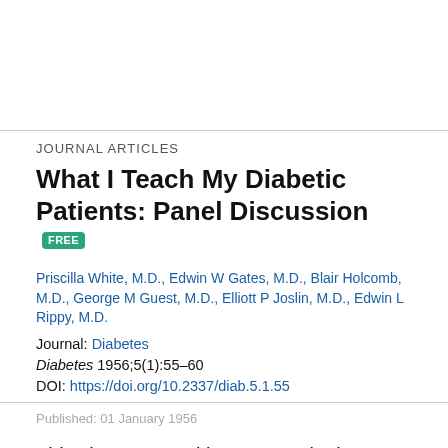JOURNAL ARTICLES
What I Teach My Diabetic Patients: Panel Discussion
Priscilla White, M.D., Edwin W Gates, M.D., Blair Holcomb, M.D., George M Guest, M.D., Elliott P Joslin, M.D., Edwin L Rippy, M.D.
Journal: Diabetes
Diabetes 1956;5(1):55–60
DOI: https://doi.org/10.2337/diab.5.1.55
Published: 01 January 1956
This site uses cookies. By continuing to use our website, you are agreeing to our privacy policy. Accept